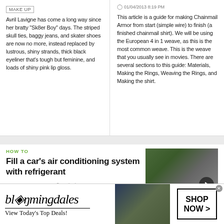MAKE UP
Avril Lavigne has come a long way since her bratty "Sk8er Boy" days. The striped skull ties, baggy jeans, and skater shoes are now no more, instead replaced by lustrous, shiny strands, thick black eyeliner that's tough but feminine, and loads of shiny pink lip gloss.
01/04/2013 8:19 PM
This article is a guide for making Chainmail Armor from start (simple wire) to finish (a finished chainmail shirt). We will be using the European 4 in 1 weave, as this is the most common weave. This is the weave that you usually see in movies. There are several sections to this guide: Materials, Making the Rings, Weaving the Rings, and Making the shirt.
HOW TO
Fill a car's air conditioning system with refrigerant
BY WONDERHOWTO  10/14/2010 8:44 PM
AUTO MAINTENANCE & REPAIRS
[Figure (photo): Thumbnail image of a person working on a car, with a play button overlay]
[Figure (photo): Bloomingdales advertisement banner with woman in hat, reading: bloomingdales View Today's Top Deals! SHOP NOW >]